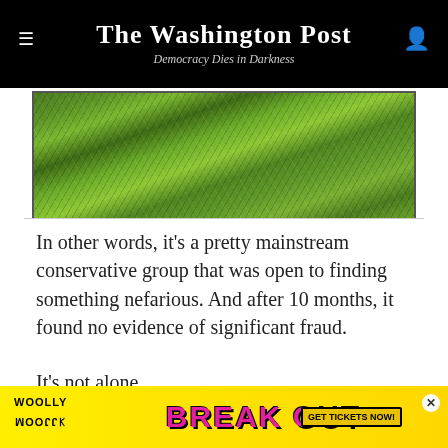The Washington Post — Democracy Dies in Darkness
[Figure (photo): Close-up photograph of green grass or leafy plants with blades crossing each other.]
In other words, it’s a pretty mainstream conservative group that was open to finding something nefarious. And after 10 months, it found no evidence of significant fraud.
It’s not alone.
In Georgia, a post-election audit of paper
[Figure (advertisement): Woolly Mammoth Theatre advertisement: BREAK OUT. GET TICKETS NOW. Yellow background with pink text.]